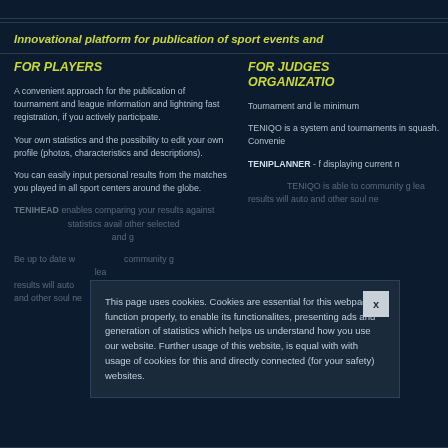Innovational platform for publication of sport events and
FOR PLAYERS
A convenient approach for the publication of tournament and league information and lightning fast registration, if you actively participate.
Your own statistics and the possibility to edit your own profile (photos, characteristics and descriptions).
You can easily input personal results from the matches you played in all sport centers around the globe.
TENIHEAD enables comparing your results against statistics avail other selected and directly connected (for your safety)
Be up to date with community g lea results will auto and other soul ne
FOR JUDGES ORGANIZATIO
Tournament and le minimum
TENIQO is a system and tournaments in squash. Convenie
TENIPLANNER - f displaying current n
This page uses cookies. Cookies are essential for this webpage to function properly, to enable its functionalites, presenting ads and generation of statistics which helps us understand how you use our website. Further usage of this website, is equal with with usage of cookies for this and directly connected (for your safety) websites.